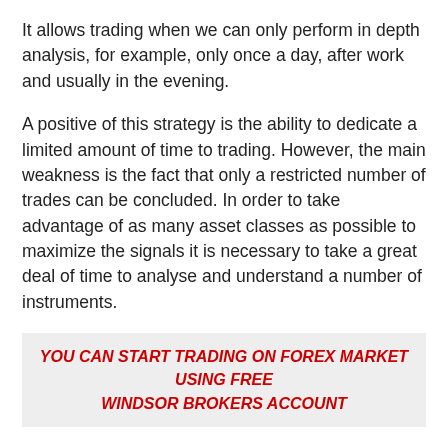It allows trading when we can only perform in depth analysis, for example, only once a day, after work and usually in the evening.
A positive of this strategy is the ability to dedicate a limited amount of time to trading. However, the main weakness is the fact that only a restricted number of trades can be concluded. In order to take advantage of as many asset classes as possible to maximize the signals it is necessary to take a great deal of time to analyse and understand a number of instruments.
YOU CAN START TRADING ON FOREX MARKET USING FREE WINDSOR BROKERS ACCOUNT
Part-time trading is not suitable for everyone but we